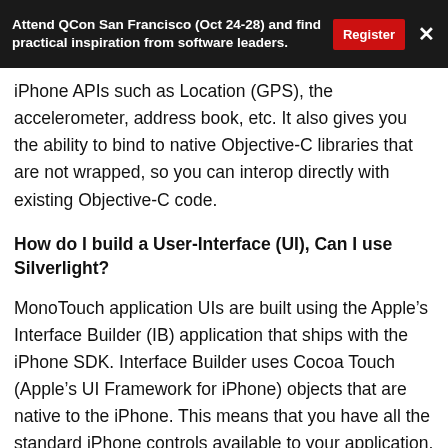Attend QCon San Francisco (Oct 24-28) and find practical inspiration from software leaders.
iPhone APIs such as Location (GPS), the accelerometer, address book, etc. It also gives you the ability to bind to native Objective-C libraries that are not wrapped, so you can interop directly with existing Objective-C code.
How do I build a User-Interface (UI), Can I use Silverlight?
MonoTouch application UIs are built using the Apple’s Interface Builder (IB) application that ships with the iPhone SDK. Interface Builder uses Cocoa Touch (Apple’s UI Framework for iPhone) objects that are native to the iPhone. This means that you have all the standard iPhone controls available to your application, including Pickers, Sliders, Buttons, etc.